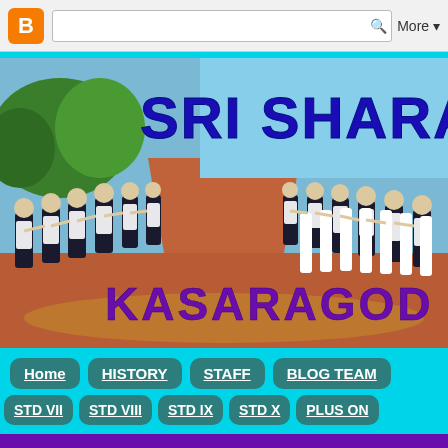Blogger toolbar with search and More button
[Figure (photo): School banner photo showing students in white uniforms standing in rows on a field, with large text 'SRI SHARA' in blue at the top and 'KASARAGOD' in purple at the bottom of the image.]
Navigation: Home | HISTORY | STAFF | BLOG TEAM | STD VII | STD VIII | STD IX | STD X | PLUS ON
Purple bar at bottom